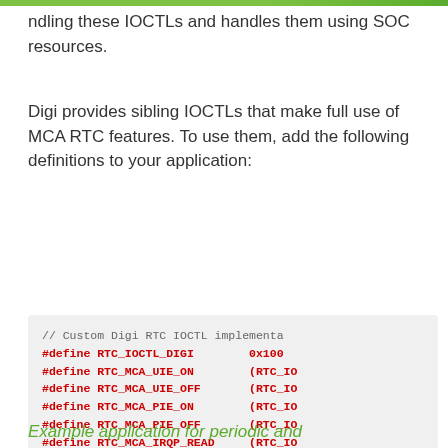ndling these IOCTLs and handles them using SOC resources.
Digi provides sibling IOCTLs that make full use of MCA RTC features. To use them, add the following definitions to your application:
// Custom Digi RTC IOCTL implementa
#define RTC_IOCTL_DIGI        0x100
#define RTC_MCA_UIE_ON        (RTC_IO
#define RTC_MCA_UIE_OFF       (RTC_IO
#define RTC_MCA_PIE_ON        (RTC_IO
#define RTC_MCA_PIE_OFF       (RTC_IO
#define RTC_MCA_IRQP_READ     (RTC_IO
#define RTC_MCA_IRQP_SET      (RTC_IO
Example application for periodic and